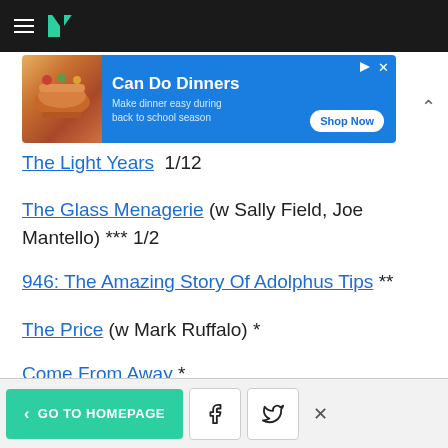HuffPost navigation bar with hamburger menu and logo
[Figure (screenshot): Advertisement banner for 'Can Do Dinners - Make dinner easy during back to school season' with Shop Now button]
The Light Years 1/12
The Glass Menagerie (w Sally Field, Joe Mantello) *** 1/2
946: The Amazing Story Of Adolphus Tips **
The Price (w Mark Ruffalo) *
Come From Away *
← GO TO HOMEPAGE | Facebook | Twitter | ×